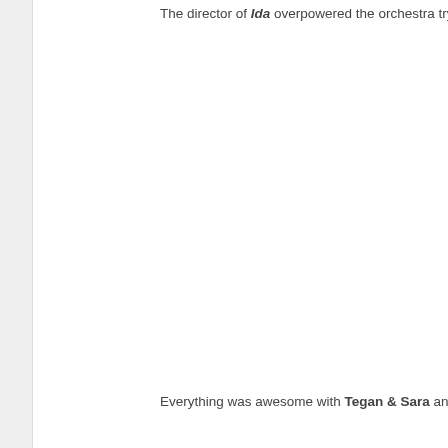The director of Ida overpowered the orchestra trying to play him off afte
Everything was awesome with Tegan & Sara and The Lonely Island per